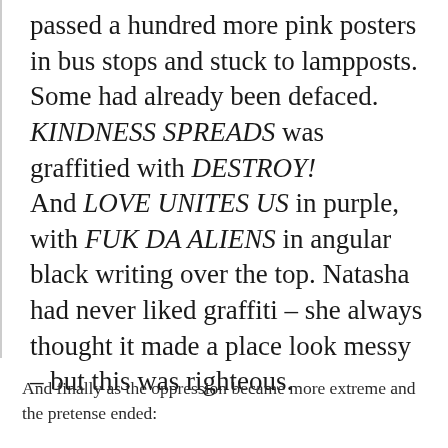passed a hundred more pink posters in bus stops and stuck to lampposts. Some had already been defaced. KINDNESS SPREADS was graffitied with DESTROY!
And LOVE UNITES US in purple, with FUK DA ALIENS in angular black writing over the top. Natasha had never liked graffiti – she always thought it made a place look messy – but this was righteous.
And finally as the oppression became more extreme and the pretense ended: